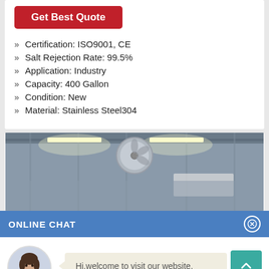Get Best Quote
Certification: ISO9001, CE
Salt Rejection Rate: 99.5%
Application: Industry
Capacity: 400 Gallon
Condition: New
Material: Stainless Steel304
[Figure (photo): Industrial factory ceiling with fluorescent lights and a fan mounted on ceiling]
ONLINE CHAT
[Figure (photo): Avatar/portrait of a woman named Cilina in a light blue blouse]
Cilina
Hi,welcome to visit our website.